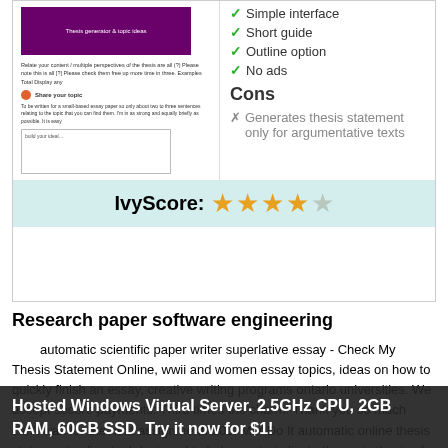[Figure (screenshot): Screenshot of a thesis statement tool interface with purple header, small text, an orange badge, and a text input area]
Simple interface
Short guide
Outline option
No ads
Cons
Generates thesis statement only for argumentative texts
IvyScore: ★★★★☆
Research paper software engineering
automatic scientific paper writer superlative essay - Check My Thesis Statement Online, wwii and women essay topics, ideas on how to quickly finish an essay, creative writing programs ontario universities. We accept secure payments: Third times the charm! Thank you so much can't wait for the next assignment! 100. Mar Do It automatic online thesis statement online tool designed to help you to indicate the main thesis of your paper in one phrase. It is easy to use such tools.
Hosted Windows Virtual Server. 2.5GHz CPU, 2GB RAM, 60GB SSD. Try it now for $1!